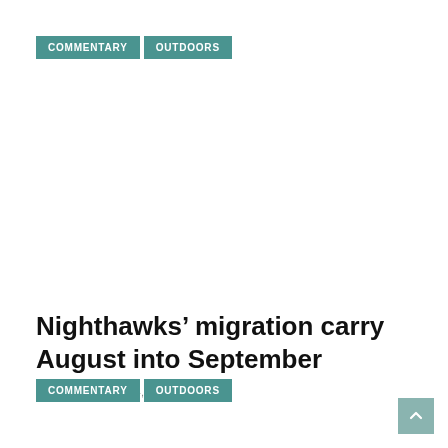COMMENTARY  OUTDOORS
Nighthawks’ migration carry August into September
SEPTEMBER 4, 2017  /
COMMENTARY  OUTDOORS